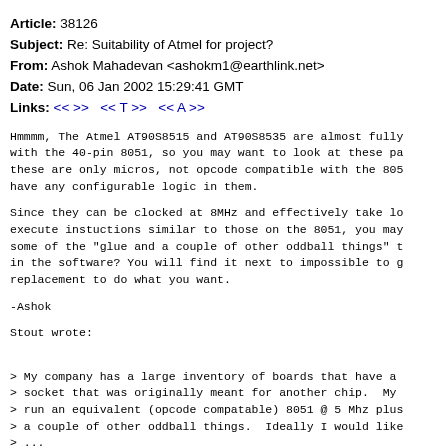Article: 38126
Subject: Re: Suitability of Atmel for project?
From: Ashok Mahadevan <ashokm1@earthlink.net>
Date: Sun, 06 Jan 2002 15:29:41 GMT
Links: << >> << T >> << A >>
Hmmmm, The Atmel AT90S8515 and AT90S8535 are almost fully
with the 40-pin 8051, so you may want to look at these pa
these are only micros, not opcode compatible with the 805
have any configurable logic in them.
Since they can be clocked at 8MHz and effectively take lo
execute instuctions similar to those on the 8051, you may
some of the "glue and a couple of other oddball things" t
in the software? You will find it next to impossible to g
replacement to do what you want.
-Ashok
Stout wrote:
> My company has a large inventory of boards that have a
> socket that was originally meant for another chip.  My
> run an equivalent (opcode compatable) 8051 @ 5 Mhz plus
> a couple of other oddball things.  Ideally I would like
> ...